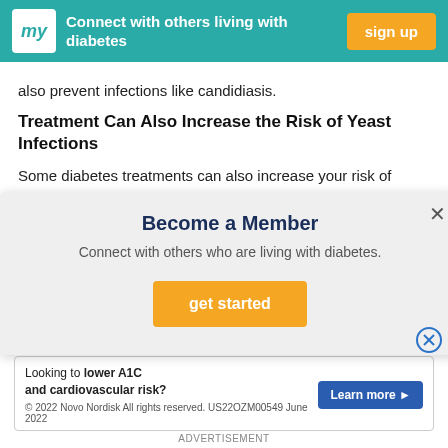[Figure (other): Top navigation banner with teal background showing 'my' logo, text 'Connect with others living with diabetes', and orange 'sign up' button]
also prevent infections like candidiasis.
Treatment Can Also Increase the Risk of Yeast Infections
Some diabetes treatments can also increase your risk of
[Figure (other): Modal popup with light gray background showing 'Become a Member', subtitle 'Connect with others who are living with diabetes.', and orange 'get started' button with X close icon]
canagliflozin (Invokana), and empagliflozin (Jardiance). Th...
[Figure (other): Advertisement banner: 'Looking to lower A1C and cardiovascular risk?' with 'Learn more' button and Novo Nordisk copyright notice]